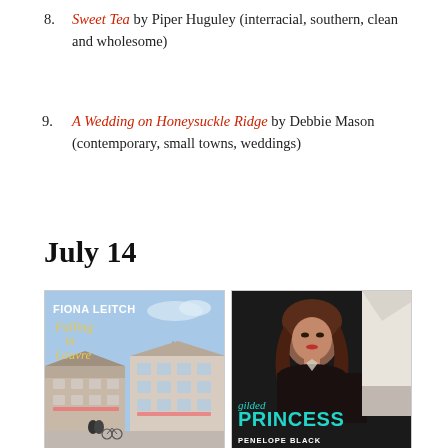8. Sweet Tea by Piper Huguley (interracial, southern, clean and wholesome)
9. A Wedding on Honeysuckle Ridge by Debbie Mason (contemporary, small towns, weddings)
July 14
[Figure (photo): Two book covers side by side: 'Falling in Louvre' by Fiona Leitch (illustrated cover with Parisian buildings and Eiffel Tower, blue sky background) and 'Gilded Princess' by Penelope Black (dark romance cover with a woman in black lingerie and a man in white shirt, teal title text).]